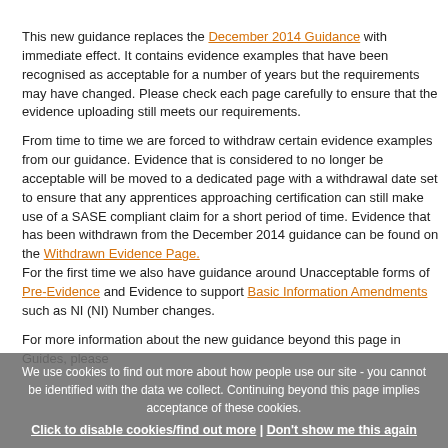This new guidance replaces the December 2014 Guidance with immediate effect. It contains evidence examples that have been recognised as acceptable for a number of years but the requirements may have changed. Please check each page carefully to ensure that the evidence uploading still meets our requirements.
From time to time we are forced to withdraw certain evidence examples from our guidance. Evidence that is considered to no longer be acceptable will be moved to a dedicated page with a withdrawal date set to ensure that any apprentices approaching certification can still make use of a SASE compliant claim for a short period of time. Evidence that has been withdrawn from the December 2014 guidance can be found on the Withdrawn Evidence Page. For the first time we also have guidance around Unacceptable forms of Pre-Evidence and Evidence to support Basic Information Amendments such as NI (NI) Number changes.
For more information about the new guidance beyond this page in Guides, please
We use cookies to find out more about how people use our site - you cannot be identified with the data we collect. Continuing beyond this page implies acceptance of these cookies.
Click to disable cookies/find out more | Don't show me this again